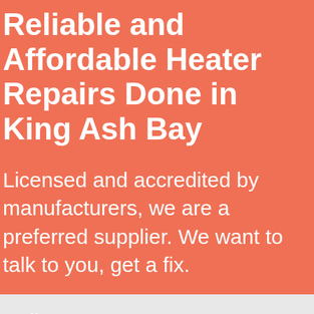Reliable and Affordable Heater Repairs Done in King Ash Bay
Licensed and accredited by manufacturers, we are a preferred supplier. We want to talk to you, get a fix.
Call us on 08 7078 0982